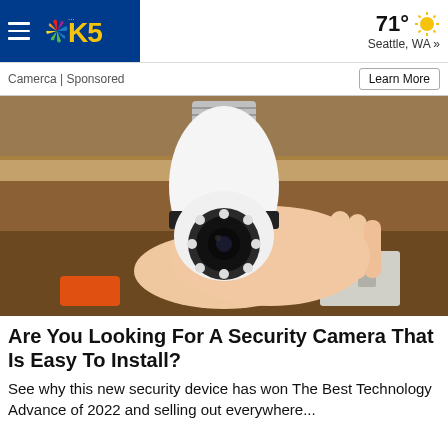KING5 NBC Seattle | 71° Seattle, WA »
Camerca | Sponsored
Learn More
[Figure (photo): A hand holding a white security camera shaped like a light bulb with a screw base, showing camera lens and LED ring. Person wearing an orange wristband. Background shows wooden shelving and an electrical outlet box.]
Are You Looking For A Security Camera That Is Easy To Install?
See why this new security device has won The Best Technology Advance of 2022 and selling out everywhere...